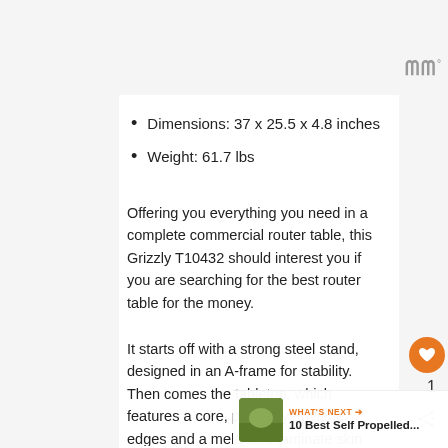Dimensions: 37 x 25.5 x 4.8 inches
Weight: 61.7 lbs
Offering you everything you need in a complete commercial router table, this Grizzly T10432 should interest you if you are searching for the best router table for the money.
It starts off with a strong steel stand, designed in an A-frame for stability. Then comes the tabletop, which features a core, plus polyethylene edges and a melamine laminate skin for smoothness